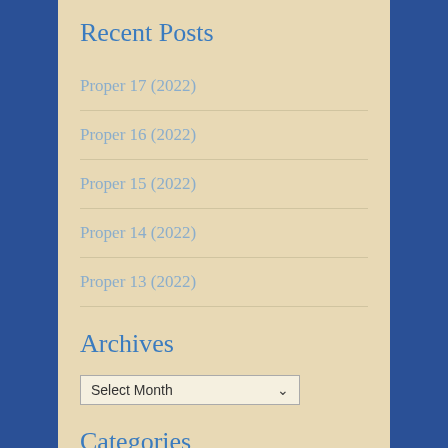Recent Posts
Proper 17 (2022)
Proper 16 (2022)
Proper 15 (2022)
Proper 14 (2022)
Proper 13 (2022)
Archives
Select Month
Categories
Select Category